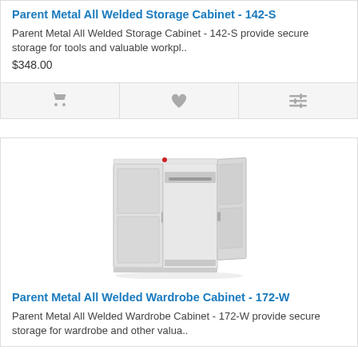Parent Metal All Welded Storage Cabinet - 142-S
Parent Metal All Welded Storage Cabinet - 142-S provide secure storage for tools and valuable workpl..
$348.00
[Figure (other): Action bar with three icons: shopping cart, heart/wishlist, and sliders/compare]
[Figure (photo): Parent Metal All Welded Wardrobe Cabinet 172-W - a large light grey two-door metal wardrobe cabinet shown with one door open]
Parent Metal All Welded Wardrobe Cabinet - 172-W
Parent Metal All Welded Wardrobe Cabinet - 172-W provide secure storage for wardrobe and other valua..